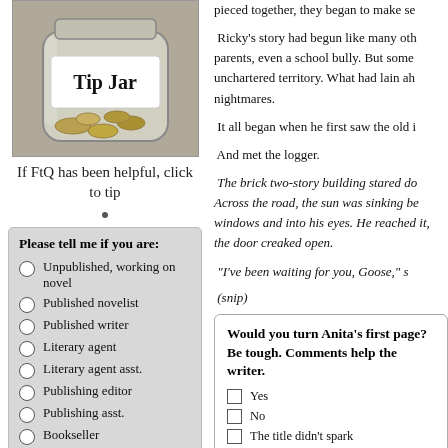[Figure (photo): Photo of a glass tip jar filled with coins, with a label reading 'Tip Jar']
If FtQ has been helpful, click to tip
Please tell me if you are:
Unpublished, working on novel
Published novelist
Published writer
Literary agent
Literary agent asst.
Publishing editor
Publishing asst.
Bookseller
pollcode.com free polls
pieced together, they began to make se
Ricky’s story had begun like many oth parents, even a school bully. But some unchartered territory. What had lain ah nightmares.
It all began when he first saw the old i
And met the logger.
The brick two-story building stared do Across the road, the sun was sinking be windows and into his eyes. He reached it, the door creaked open.
“I’ve been waiting for you, Goose,” s
(snip)
Would you turn Anita’s first page? Be tough. Comments help the writer.
Yes
No
The title didn’t spark